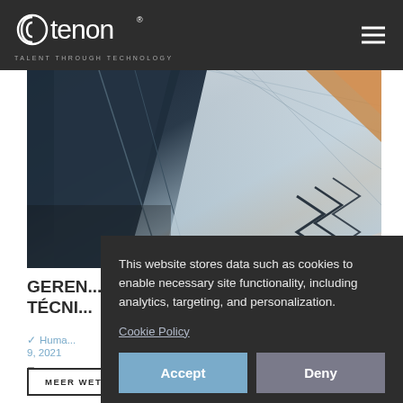catenon — TALENT THROUGH TECHNOLOGY
[Figure (photo): Architectural photo showing modern building interior with geometric shapes, steel beams, and dramatic lighting with copper/orange accent tones.]
GEREN... TÉCNI...
Huma... 9, 2021
Empres...
This website stores data such as cookies to enable necessary site functionality, including analytics, targeting, and personalization.
Cookie Policy
Accept
Deny
MEER WETEN